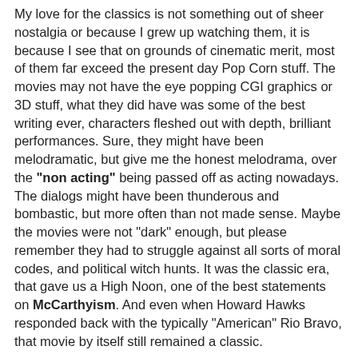My love for the classics is not something out of sheer nostalgia or because I grew up watching them, it is because I see that on grounds of cinematic merit, most of them far exceed the present day Pop Corn stuff. The movies may not have the eye popping CGI graphics or 3D stuff, what they did have was some of the best writing ever, characters fleshed out with depth, brilliant performances. Sure, they might have been melodramatic, but give me the honest melodrama, over the "non acting" being passed off as acting nowadays. The dialogs might have been thunderous and bombastic, but more often than not made sense. Maybe the movies were not "dark" enough, but please remember they had to struggle against all sorts of moral codes, and political witch hunts. It was the classic era, that gave us a High Noon, one of the best statements on McCarthyism. And even when Howard Hawks responded back with the typically "American" Rio Bravo, that movie by itself still remained a classic.

My contention is that not all classic movies, primarily those